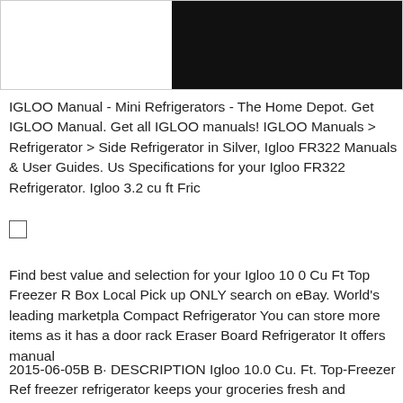[Figure (photo): Product image area split: left half white/empty, right half black background showing partial refrigerator image]
IGLOO Manual - Mini Refrigerators - The Home Depot. Get IGLOO Manual. Get all IGLOO manuals! IGLOO Manuals > Refrigerator > Side Refrigerator in Silver, Igloo FR322 Manuals & User Guides. Us Specifications for your Igloo FR322 Refrigerator. Igloo 3.2 cu ft Fric
[Figure (other): Small empty checkbox]
Find best value and selection for your Igloo 10 0 Cu Ft Top Freezer R Box Local Pick up ONLY search on eBay. World's leading marketpla Compact Refrigerator You can store more items as it has a door rack Eraser Board Refrigerator It offers manual
2015-06-05B B· DESCRIPTION Igloo 10.0 Cu. Ft. Top-Freezer Ref freezer refrigerator keeps your groceries fresh and organized without